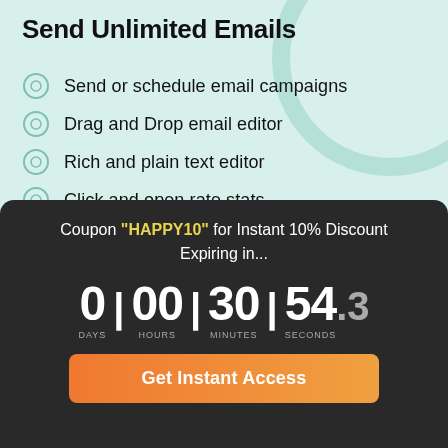Send Unlimited Emails
Send or schedule email campaigns
Drag and Drop email editor
Rich and plain text editor
Click and open rate stats
Subscriber From Page
Coupon "HAPPY10" for Instant 10% Discount Expiring in...
0 DAYS | 00 HOURS | 30 MINUTES | 54.3 SECONDS
Get Instant Access